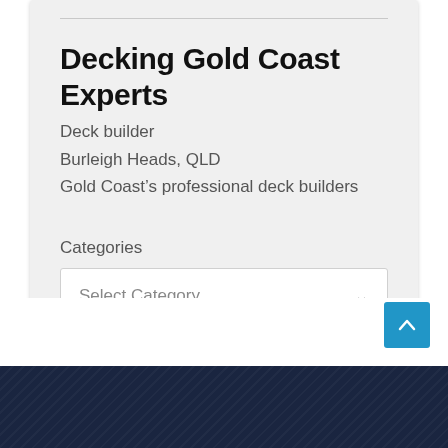Decking Gold Coast Experts
Deck builder
Burleigh Heads, QLD
Gold Coast’s professional deck builders
Categories
Select Category
[Figure (screenshot): Dark navy blue textured footer band at bottom of page]